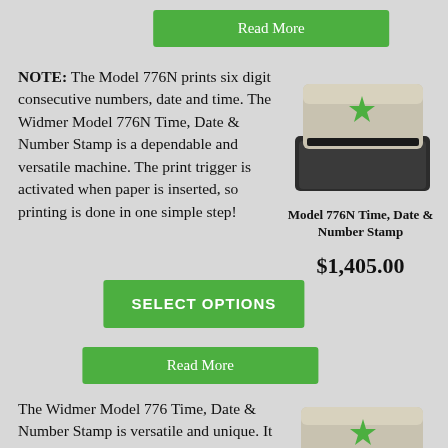Read More
NOTE: The Model 776N prints six digit consecutive numbers, date and time. The Widmer Model 776N Time, Date & Number Stamp is a dependable and versatile machine. The print trigger is activated when paper is inserted, so printing is done in one simple step!
[Figure (photo): Photo of Widmer Model 776N Time, Date & Number Stamp — a beige/cream top with green star logo on a dark gray/black base]
Model 776N Time, Date & Number Stamp
$1,405.00
SELECT OPTIONS
Read More
The Widmer Model 776 Time, Date & Number Stamp is versatile and unique. It offers two printing heads that will enable printing numerous combinations of Time, Date, and Numbering, as well as Alpha Wheels for coding. Printing is done in one easy step! The print trigger is activated
[Figure (photo): Photo of Widmer Model 776 Time, Date & Number Stamp — a beige/cream top with green star logo on a dark gray/black base]